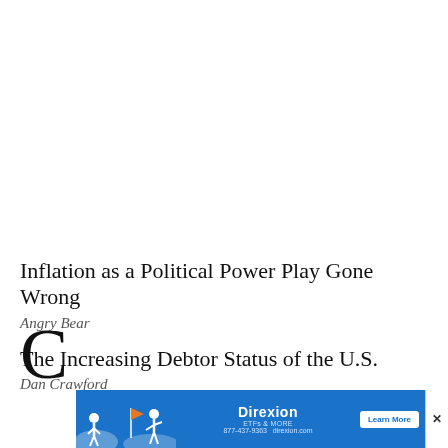Inflation as a Political Power Play Gone Wrong
Angry Bear
The Increasing Debtor Status of the U.S.
Dan Crawford
C…
[Figure (other): Blue advertisement banner for Direxion with illustrated figures and a Learn More button]